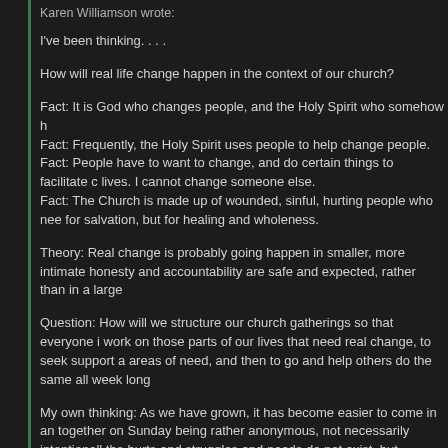Karen Williamson wrote:
I've been thinking. . . .
How will real life change happen in the context of our church?
Fact: It is God who changes people, and the Holy Spirit who somehow h
Fact: Frequently, the Holy Spirit uses people to help change people.
Fact: People have to want to change, and do certain things to facilitate c lives. I cannot change someone else.
Fact: The Church is made up of wounded, sinful, hurting people who nee for salvation, but for healing and wholeness.
Theory: Real change is probably going happen in smaller, more intimate honesty and accountability are safe and expected, rather than in a large
Question: How will we structure our church gatherings so that everyone i work on those parts of our lives that need real change, to seek support a areas of need, and then to go and help others do the same all week long
My own thinking: As we have grown, it has become easier to come in an together on Sunday being rather anonymous, not necessarily intentionall the hurts and struggles and needs do not exist, but . . . . just because. It to happen in a gathering of 50.